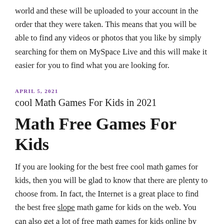world and these will be uploaded to your account in the order that they were taken. This means that you will be able to find any videos or photos that you like by simply searching for them on MySpace Live and this will make it easier for you to find what you are looking for.
APRIL 5, 2021
cool Math Games For Kids in 2021
Math Free Games For Kids
If you are looking for the best free cool math games for kids, then you will be glad to know that there are plenty to choose from. In fact, the Internet is a great place to find the best free slope math game for kids on the web. You can also get a lot of free math games for kids online by just typing in a keyword and hitting enter. This will bring up